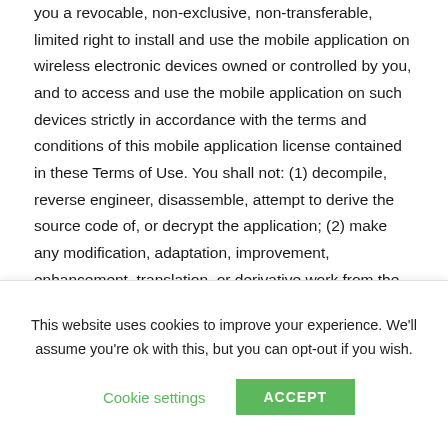you a revocable, non-exclusive, non-transferable, limited right to install and use the mobile application on wireless electronic devices owned or controlled by you, and to access and use the mobile application on such devices strictly in accordance with the terms and conditions of this mobile application license contained in these Terms of Use. You shall not: (1) decompile, reverse engineer, disassemble, attempt to derive the source code of, or decrypt the application; (2) make any modification, adaptation, improvement, enhancement, translation, or derivative work from the application; (3) violate any applicable laws, rules, or
This website uses cookies to improve your experience. We'll assume you're ok with this, but you can opt-out if you wish.
Cookie settings   ACCEPT